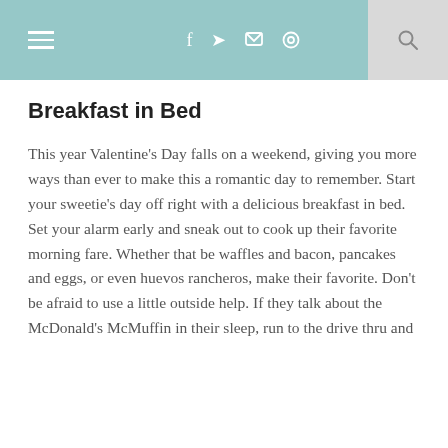≡ f ✦ ☷ ⊕ 🔍
Breakfast in Bed
This year Valentine's Day falls on a weekend, giving you more ways than ever to make this a romantic day to remember. Start your sweetie's day off right with a delicious breakfast in bed. Set your alarm early and sneak out to cook up their favorite morning fare. Whether that be waffles and bacon, pancakes and eggs, or even huevos rancheros, make their favorite. Don't be afraid to use a little outside help. If they talk about the McDonald's McMuffin in their sleep, run to the drive thru and